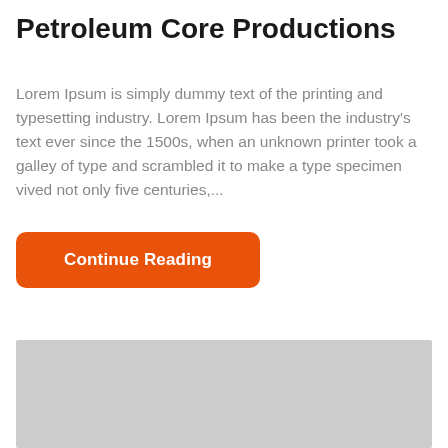Petroleum Core Productions
Lorem Ipsum is simply dummy text of the printing and typesetting industry. Lorem Ipsum has been the industry's text ever since the 1500s, when an unknown printer took a galley of type and scrambled it to make a type specimen vived not only five centuries,...
Continue Reading
[Figure (photo): Gray placeholder image block at the bottom of the page]